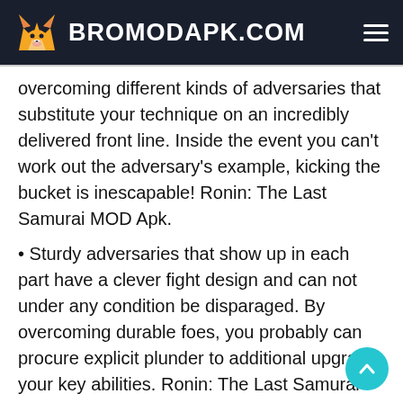BROMODAPK.COM
overcoming different kinds of adversaries that substitute your technique on an incredibly delivered front line. Inside the event you can't work out the adversary's example, kicking the bucket is inescapable! Ronin: The Last Samurai MOD Apk.
• Sturdy adversaries that show up in each part have a clever fight design and can not under any condition be disparaged. By overcoming durable foes, you probably can procure explicit plunder to additional upgrade your key abilities. Ronin: The Last Samurai MOD Apk.
• Ronin: The Last Samurai MOD Apk, Unlock new abilities by the utilization of educating, aggregate and upgrade different stuff to over and over create more grounded.
• Pet partners with explicit abilities will most likely be you exclusively solid buddies in forlorn fights Ronin: The Last